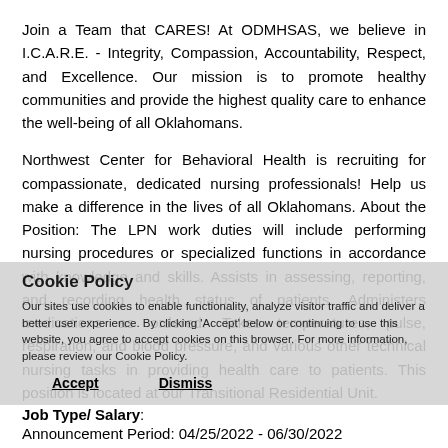Join a Team that CARES! At ODMHSAS, we believe in I.C.A.R.E. - Integrity, Compassion, Accountability, Respect, and Excellence. Our mission is to promote healthy communities and provide the highest quality care to enhance the well-being of all Oklahomans.
Northwest Center for Behavioral Health is recruiting for compassionate, dedicated nursing professionals! Help us make a difference in the lives of all Oklahomans. About the Position: The LPN work duties will include performing nursing procedures or specialized functions in accordance with knowledge and skills. Assists in assessing, reporting, and recording health status of patients. Administers medications as ordered. Takes temperatures, pulse, respiration, and blood pressure, and various other technical nursing tasks in providing health care to patients. This position is located at our Transitional Residential Unit.
Cookie Policy
Our sites use cookies to enable functionality, analyze visitor traffic and deliver a better user experience. By clicking 'Accept' below or continuing to use this website, you agree to accept cookies on this browser. For more information, please review our Cookie Policy.
Accept    Dismiss
Job Type/ Salary:
Announcement Period: 04/25/2022 - 06/30/2022